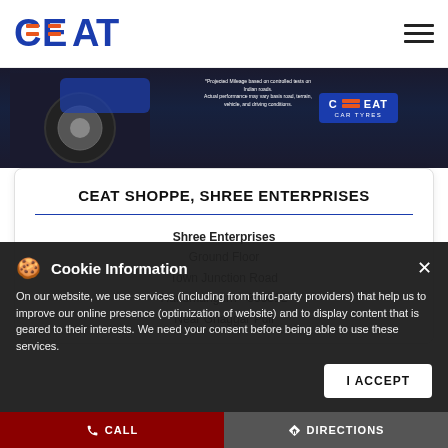CEAT
[Figure (screenshot): CEAT Car Tyres hero banner with a car wheel on dark blue background and CEAT Car Tyres badge]
CEAT SHOPPE, SHREE ENTERPRISES
Shree Enterprises
Ground Floor
Town Junction Road
Hanumangarh - 335512
Near Ghaggar Pull
Cookie Information
On our website, we use services (including from third-party providers) that help us to improve our online presence (optimization of website) and to display content that is geared to their interests. We need your consent before being able to use these services.
I ACCEPT
CALL   DIRECTIONS